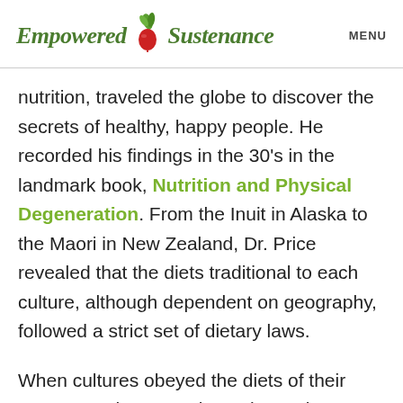Empowered Sustenance  MENU
nutrition, traveled the globe to discover the secrets of healthy, happy people. He recorded his findings in the 30’s in the landmark book, Nutrition and Physical Degeneration. From the Inuit in Alaska to the Maori in New Zealand, Dr. Price revealed that the diets traditional to each culture, although dependent on geography, followed a strict set of dietary laws.
When cultures obeyed the diets of their ancestors, they experienced stunning beauty